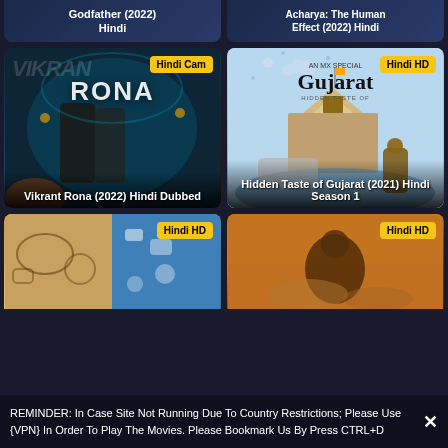[Figure (screenshot): Partially visible top card - Godfather (2022) Hindi]
[Figure (screenshot): Partially visible top card - Acharya: The Human Effect (2022) Hindi]
[Figure (photo): Vikrant Rona (2022) Hindi Dubbed movie poster with badge Hindi Cam]
[Figure (photo): Hidden Taste of Gujarat (2021) Hindi Season 1 show poster with badge Hindi HD]
[Figure (photo): Partially visible card with Hindi HD badge - communications themed]
[Figure (photo): Partially visible card with Hindi HD badge - action themed]
REMINDER: In Case Site Not Running Due To Country Restrictions; Please Use {VPN} In Order To Play The Movies. Please Bookmark Us By Press CTRL+D